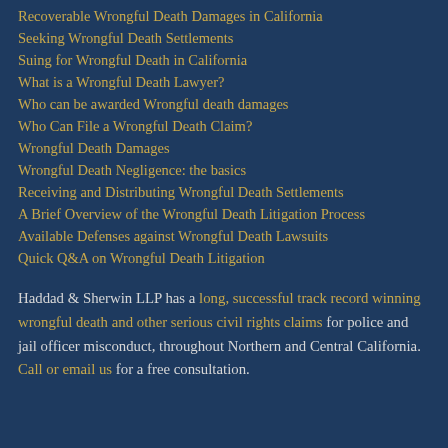Recoverable Wrongful Death Damages in California
Seeking Wrongful Death Settlements
Suing for Wrongful Death in California
What is a Wrongful Death Lawyer?
Who can be awarded Wrongful death damages
Who Can File a Wrongful Death Claim?
Wrongful Death Damages
Wrongful Death Negligence: the basics
Receiving and Distributing Wrongful Death Settlements
A Brief Overview of the Wrongful Death Litigation Process
Available Defenses against Wrongful Death Lawsuits
Quick Q&A on Wrongful Death Litigation
Haddad & Sherwin LLP has a long, successful track record winning wrongful death and other serious civil rights claims for police and jail officer misconduct, throughout Northern and Central California. Call or email us for a free consultation.